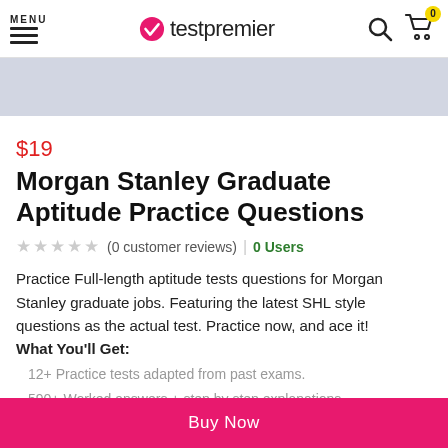testpremier — navigation with MENU, logo, search, cart
[Figure (screenshot): Light blue-grey banner/advertisement area]
$19
Morgan Stanley Graduate Aptitude Practice Questions
★★★★★ (0 customer reviews) | 0 Users
Practice Full-length aptitude tests questions for Morgan Stanley graduate jobs. Featuring the latest SHL style questions as the actual test. Practice now, and ace it! What You'll Get:
12+ Practice tests adapted from past exams.
590+ Worked answers + step by step explanations
Buy Now